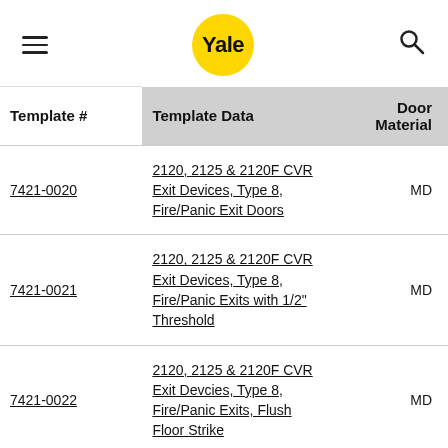Yale
| Template # | Template Data | Door Material |
| --- | --- | --- |
| 7421-0020 | 2120, 2125 & 2120F CVR Exit Devices, Type 8, Fire/Panic Exit Doors | MD |
| 7421-0021 | 2120, 2125 & 2120F CVR Exit Devices, Type 8, Fire/Panic Exits with 1/2" Threshold | MD |
| 7421-0022 | 2120, 2125 & 2120F CVR Exit Devcies, Type 8, Fire/Panic Exits, Flush Floor Strike | MD |
|  | 2160, 2165, 2160(F90) Series CVR Devices, Type 7 & 8, |  |